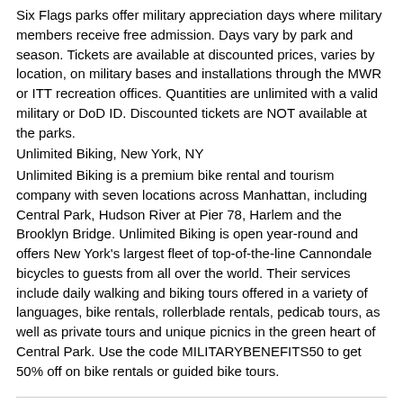Six Flags parks offer military appreciation days where military members receive free admission. Days vary by park and season. Tickets are available at discounted prices, varies by location, on military bases and installations through the MWR or ITT recreation offices. Quantities are unlimited with a valid military or DoD ID. Discounted tickets are NOT available at the parks.
Unlimited Biking, New York, NY
Unlimited Biking is a premium bike rental and tourism company with seven locations across Manhattan, including Central Park, Hudson River at Pier 78, Harlem and the Brooklyn Bridge. Unlimited Biking is open year-round and offers New York's largest fleet of top-of-the-line Cannondale bicycles to guests from all over the world. Their services include daily walking and biking tours offered in a variety of languages, bike rentals, rollerblade rentals, pedicab tours, as well as private tours and unique picnics in the green heart of Central Park. Use the code MILITARYBENEFITS50 to get 50% off on bike rentals or guided bike tours.
NORTH CAROLINA
ACE Rent A Car, Goldsboro, NC